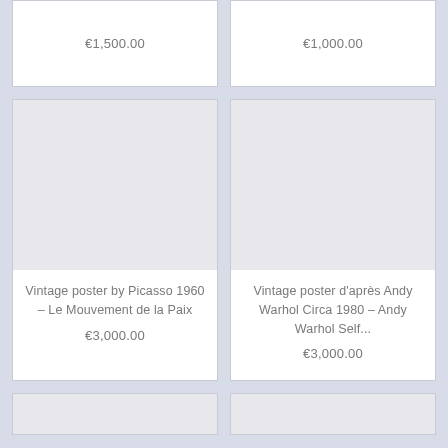€1,500.00
€1,000.00
[Figure (other): Placeholder image for vintage poster product listing]
Vintage poster by Picasso 1960 – Le Mouvement de la Paix
€3,000.00
[Figure (other): Placeholder image for vintage poster product listing]
Vintage poster d'après Andy Warhol Circa 1980 – Andy Warhol Self...
€3,000.00